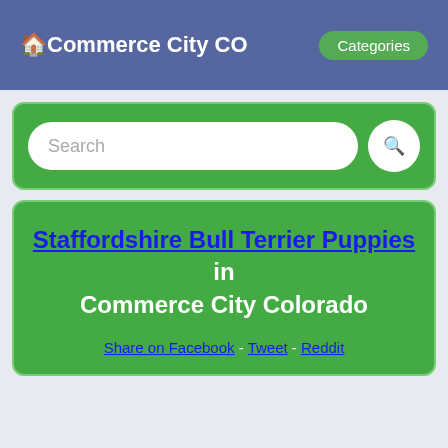🏠Commerce City CO   Categories
[Figure (screenshot): Search bar with text input and search button on green background]
Staffordshire Bull Terrier Puppies in Commerce City Colorado
Share on Facebook - Tweet - Reddit